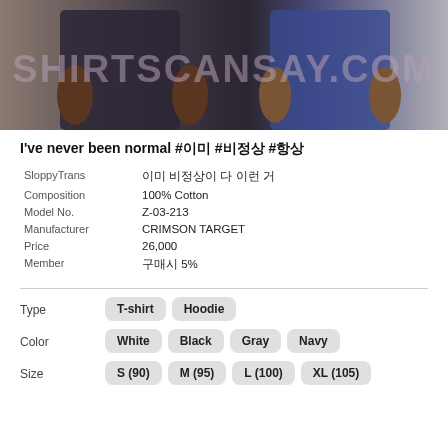[Figure (photo): Two people wearing dark clothing (leggings/pants), showing from waist to knee. A watermark 'SHIRTSCANSAY.COM' is overlaid in large text.]
I've never been normal #이미 #비정상 #항상
| SloppyTrans | 이미 비정상이 다 이런 거 |
| Composition | 100% Cotton |
| Model No. | Z-03-213 |
| Manufacturer | CRIMSON TARGET |
| Price | 26,000 |
| Member | 구매시 5% |
Type: T-shirt, Hoodie
Color: White, Black, Gray, Navy
Size: S (90), M (95), L (100), XL (105)